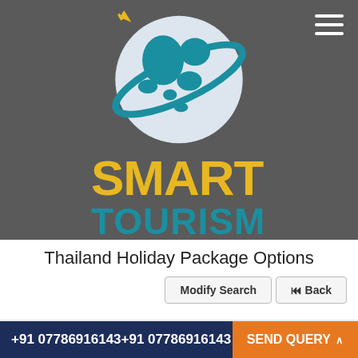[Figure (logo): Smart Tourism logo: globe with airplane swoosh in blue and grey tones, with 'SMART' in yellow bold text and 'TOURISM' in teal bold text below]
Thailand Holiday Package Options
Modify Search | Back
+91 07786916143+91 07786916143  SEND QUERY